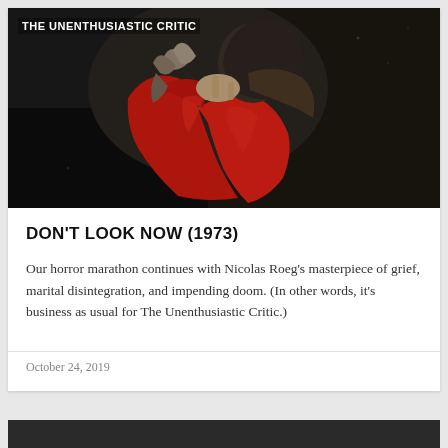[Figure (photo): Dark dramatic film still showing two figures, one in a red coat/garment, against a very dark background]
THE UNENTHUSIASTIC CRITIC
DON'T LOOK NOW (1973)
Our horror marathon continues with Nicolas Roeg's masterpiece of grief, marital disintegration, and impending doom. (In other words, it's business as usual for The Unenthusiastic Critic.)
October 24, 2019